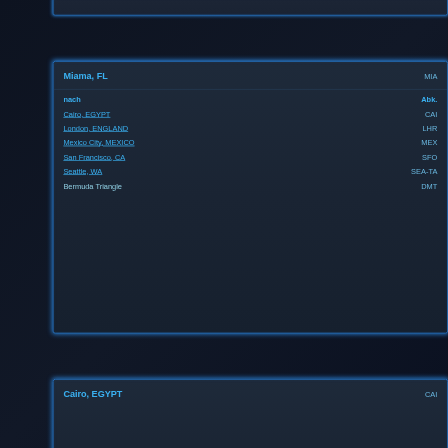| Miama, FL | MIA |
| --- | --- |
| nach | Abk. |
| Cairo, EGYPT | CAI |
| London, ENGLAND | LHR |
| Mexico City, MEXICO | MEX |
| San Francisco, CA | SFO |
| Seattle, WA | SEA-TA |
| Bermuda Triangle | DMT |
| Cairo, EGYPT | CAI |
| --- | --- |